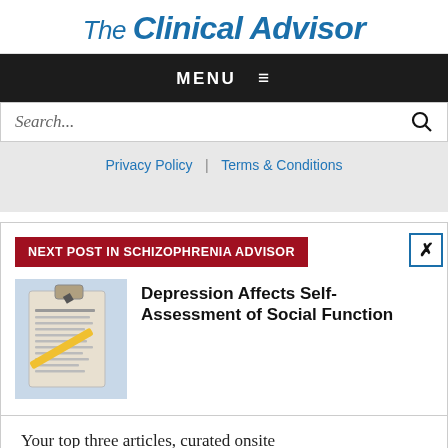Clinical Advisor
MENU ≡
Search...
Privacy Policy | Terms & Conditions
NEXT POST IN SCHIZOPHRENIA ADVISOR
Depression Affects Self-Assessment of Social Function
[Figure (photo): Clipboard with a personality function assessment form and a pencil on top]
Your top three articles, curated onsite daily